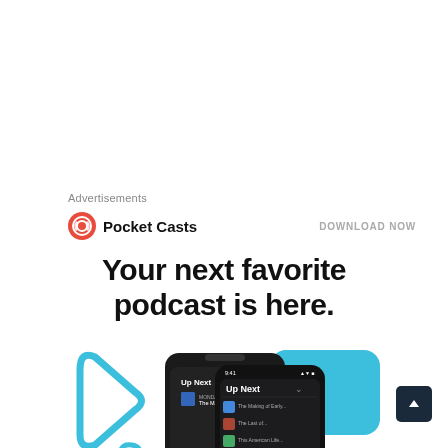Advertisements
[Figure (logo): Pocket Casts logo with red circular icon and app name, with DOWNLOAD NOW link on the right]
Your next favorite podcast is here.
[Figure (screenshot): Pocket Casts app screenshot showing phone screens with 'Up Next' queue and podcast list interface, with decorative blue play button and rounded square shapes in background]